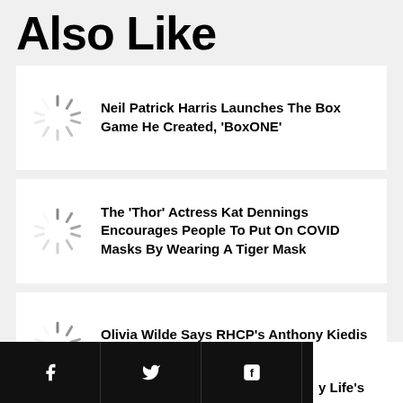Also Like
Neil Patrick Harris Launches The Box Game He Created, 'BoxONE'
The 'Thor' Actress Kat Dennings Encourages People To Put On COVID Masks By Wearing A Tiger Mask
Olivia Wilde Says RHCP's Anthony Kiedis Has Contributed To Her Directing Career
y Life's